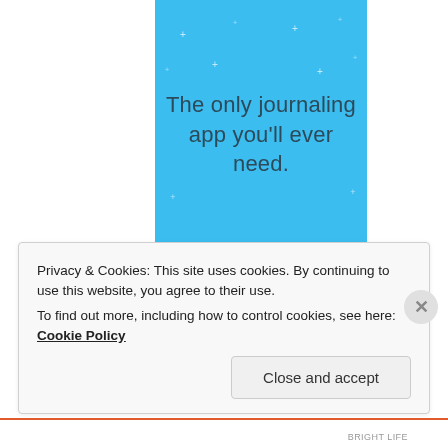[Figure (illustration): Blue banner with sparkle/star decorations and centered text reading 'The only journaling app you'll ever need.']
Privacy & Cookies: This site uses cookies. By continuing to use this website, you agree to their use.
To find out more, including how to control cookies, see here: Cookie Policy
Close and accept